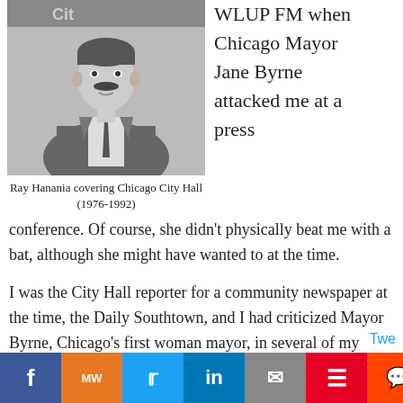[Figure (photo): Black and white photo of Ray Hanania, a man with a mustache wearing a suit and tie, standing in front of a City Hall sign.]
Ray Hanania covering Chicago City Hall (1976-1992)
WLUP FM when Chicago Mayor Jane Byrne attacked me at a press conference. Of course, she didn't physically beat me with a bat, although she might have wanted to at the time.
I was the City Hall reporter for a community newspaper at the time, the Daily Southtown, and I had criticized Mayor Byrne, Chicago's first woman mayor, in several of my columns. Criticizing aspects of the political world and your readers.